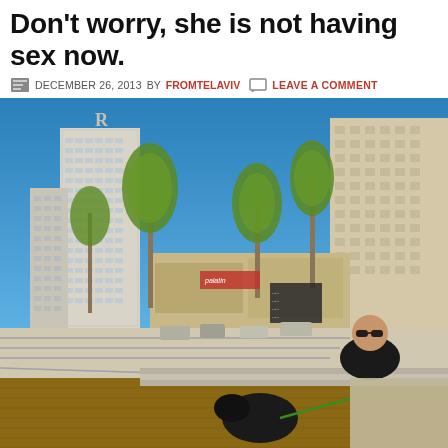Don't worry, she is not having sex now.
DECEMBER 26, 2013 BY FROMTELAVIV  LEAVE A COMMENT
[Figure (photo): Outdoor urban scene in Tel Aviv, Israel. A man wearing sunglasses and a black jacket crouches near a concrete ledge with a black dog on a green leash. In the background are tall hotel buildings, palm trees, a waterfront promenade, shops, and parked cars under a clear blue sky.]